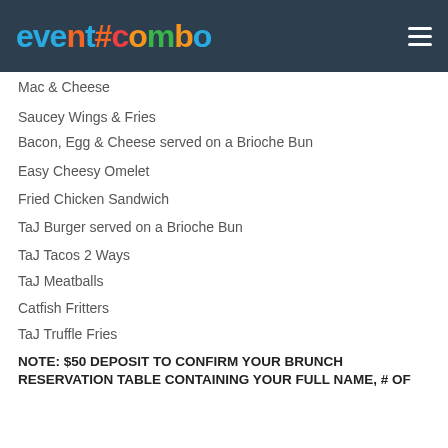[Figure (logo): EventCombo logo with colorful lettering on dark background header bar]
Mac & Cheese
Saucey Wings & Fries
Bacon, Egg & Cheese served on a Brioche Bun
Easy Cheesy Omelet
Fried Chicken Sandwich
TaJ Burger served on a Brioche Bun
TaJ Tacos 2 Ways
TaJ Meatballs
Catfish Fritters
TaJ Truffle Fries
NOTE: $50 DEPOSIT TO CONFIRM YOUR BRUNCH RESERVATION TABLE CONTAINING YOUR FULL NAME, # OF